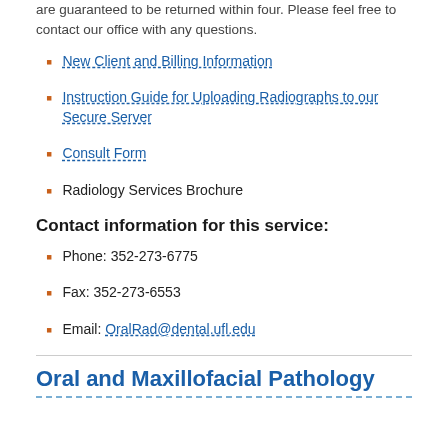are guaranteed to be returned within four. Please feel free to contact our office with any questions.
New Client and Billing Information
Instruction Guide for Uploading Radiographs to our Secure Server
Consult Form
Radiology Services Brochure
Contact information for this service:
Phone: 352-273-6775
Fax: 352-273-6553
Email: OralRad@dental.ufl.edu
Oral and Maxillofacial Pathology